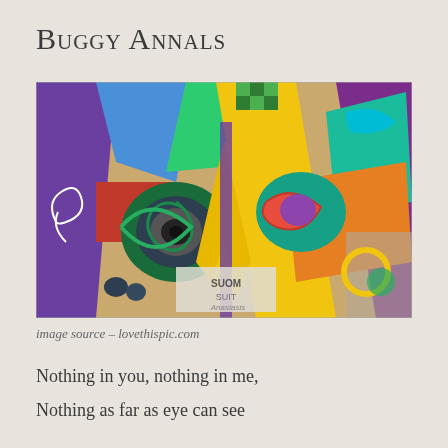Buggy Annals
[Figure (illustration): Colorful abstract street art / graffiti mural featuring a large stylized face with a spiral eye, geometric shapes, bold lines in yellow, green, blue, purple, orange, and red colors. Graffiti text visible at bottom center.]
image source – lovethispic.com
Nothing in you, nothing in me,
Nothing as far as eye can see